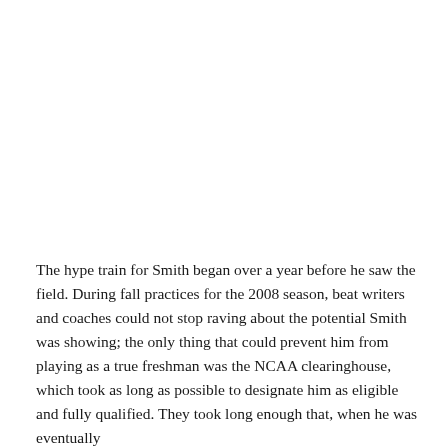The hype train for Smith began over a year before he saw the field. During fall practices for the 2008 season, beat writers and coaches could not stop raving about the potential Smith was showing; the only thing that could prevent him from playing as a true freshman was the NCAA clearinghouse, which took as long as possible to designate him as eligible and fully qualified. They took long enough that, when he was eventually